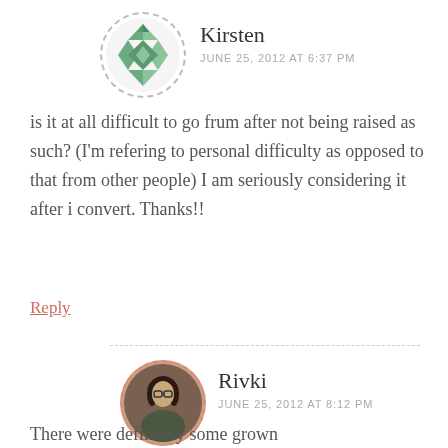[Figure (illustration): Circular avatar with dashed border showing a green geometric/diamond pattern, representing Kirsten's profile picture]
Kirsten
JUNE 25, 2012 AT 6:37 PM
is it at all difficult to go frum after not being raised as such? (I'm refering to personal difficulty as opposed to that from other people) I am seriously considering it after i convert. Thanks!!
Reply
[Figure (photo): Circular avatar with dashed pink/red border showing a photo of Rivki, a woman with dark hair and glasses]
Rivki
JUNE 25, 2012 AT 8:12 PM
There were definitely some grown